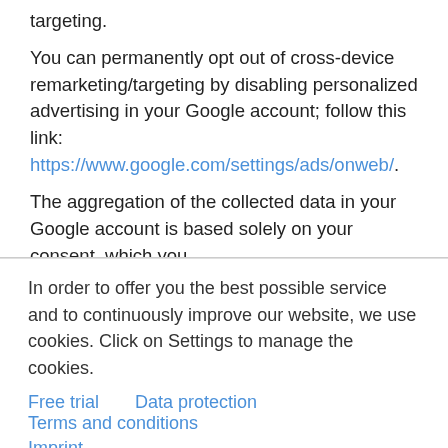targeting.
You can permanently opt out of cross-device remarketing/targeting by disabling personalized advertising in your Google account; follow this link: https://www.google.com/settings/ads/onweb/.
The aggregation of the collected data in your Google account is based solely on your consent, which you
In order to offer you the best possible service and to continuously improve our website, we use cookies. Click on Settings to manage the cookies.
Free trial   Data protection   Terms and conditions   Imprint
Settings   Decline   Accept